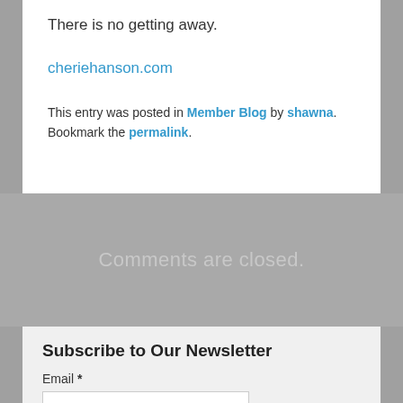There is no getting away.
cheriehanson.com
This entry was posted in Member Blog by shawna. Bookmark the permalink.
Comments are closed.
Subscribe to Our Newsletter
Email *